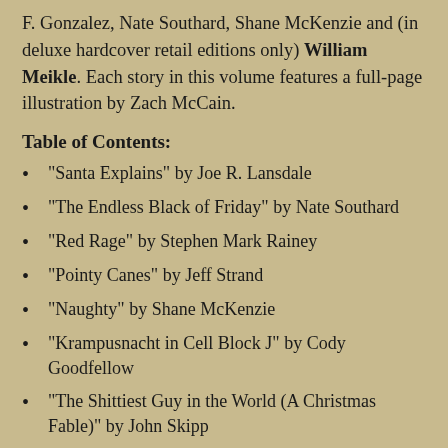F. Gonzalez, Nate Southard, Shane McKenzie and (in deluxe hardcover retail editions only) William Meikle. Each story in this volume features a full-page illustration by Zach McCain.
Table of Contents:
“Santa Explains” by Joe R. Lansdale
“The Endless Black of Friday” by Nate Southard
“Red Rage” by Stephen Mark Rainey
“Pointy Canes” by Jeff Strand
“Naughty” by Shane McKenzie
“Krampusnacht in Cell Block J” by Cody Goodfellow
“The Shittiest Guy in the World (A Christmas Fable)” by John Skipp
“Belsnickel” by J. F. Gonzalez
“The Color That Stole Christmas” by William Meikle (Deluxe Hardcover Retail Editions and Expanding